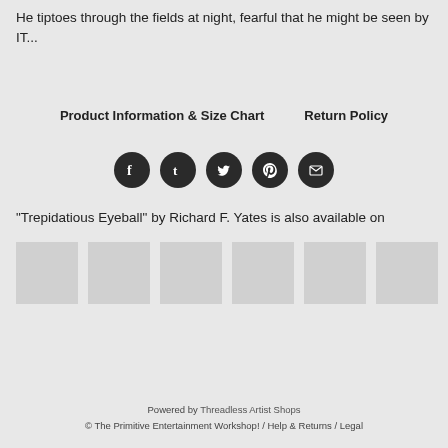He tiptoes through the fields at night, fearful that he might be seen by IT...
Product Information & Size Chart    Return Policy
[Figure (infographic): Five dark circular social media icon buttons: Facebook, Tumblr, Twitter, Pinterest, Email]
"Trepidatious Eyeball" by Richard F. Yates is also available on
[Figure (illustration): Six light gray square product thumbnail images in a horizontal row]
Powered by Threadless Artist Shops
© The Primitive Entertainment Workshop!  /  Help & Returns  /  Legal